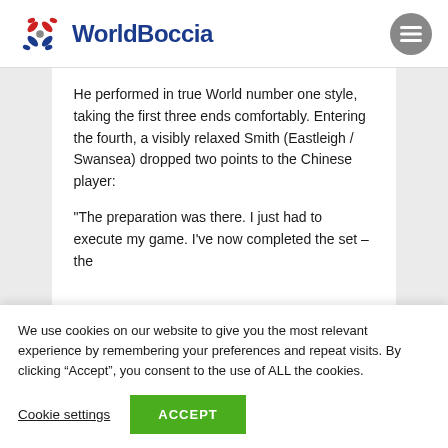WorldBoccia
He performed in true World number one style, taking the first three ends comfortably. Entering the fourth, a visibly relaxed Smith (Eastleigh / Swansea) dropped two points to the Chinese player:
“The preparation was there. I just had to execute my game. I’ve now completed the set – the
We use cookies on our website to give you the most relevant experience by remembering your preferences and repeat visits. By clicking “Accept”, you consent to the use of ALL the cookies.